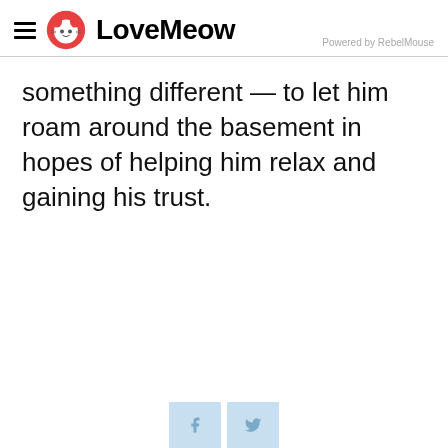LoveMeow — Powered by RebelMouse
something different — to let him roam around the basement in hopes of helping him relax and gaining his trust.
[Figure (other): Facebook and Twitter social share buttons at the bottom of the page]